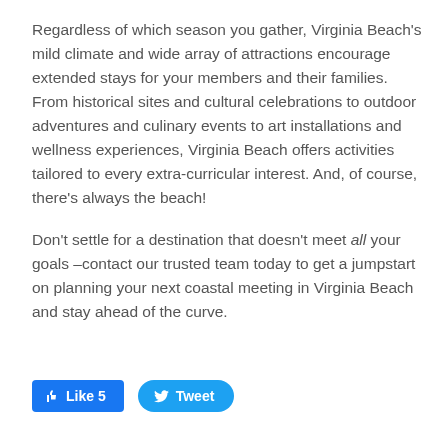Regardless of which season you gather, Virginia Beach's mild climate and wide array of attractions encourage extended stays for your members and their families. From historical sites and cultural celebrations to outdoor adventures and culinary events to art installations and wellness experiences, Virginia Beach offers activities tailored to every extra-curricular interest. And, of course, there's always the beach!
Don't settle for a destination that doesn't meet all your goals –contact our trusted team today to get a jumpstart on planning your next coastal meeting in Virginia Beach and stay ahead of the curve.
[Figure (other): Social media buttons: Facebook Like button showing 'Like 5' and Twitter Tweet button]